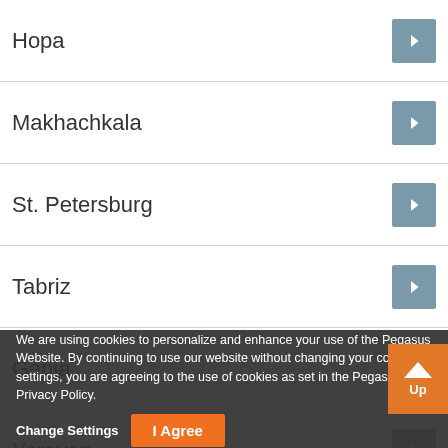Hopa
Makhachkala
St. Petersburg
Tabriz
Ganja
Yerevan
Sofia
Kütahya
NurSultan
Rize
We are using cookies to personalize and enhance your use of the Pegasus Website. By continuing to use our website without changing your cookie settings, you are agreeing to the use of cookies as set in the Pegasus Privacy Policy.
Change Settings
I Agree